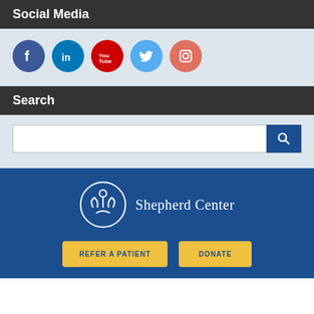Social Media
[Figure (illustration): Five social media icon circles: Facebook (dark blue), LinkedIn (blue), YouTube (red), Twitter (light blue), Instagram (salmon/red)]
Search
[Figure (screenshot): Search input bar with white text field and dark blue search button with magnifying glass icon]
[Figure (logo): Shepherd Center logo: circular emblem with stylized figure and hands in white on dark blue background, next to text 'Shepherd Center' in white serif font]
REFER A PATIENT
DONATE